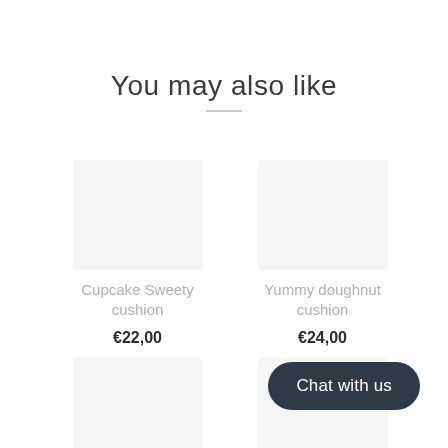You may also like
Cupcake Sweety cushion
€22,00
Yummy doughnut cushion
€24,00
Blueberry cupcake cushion
€22,00
Sp…
€24,00
Chat with us